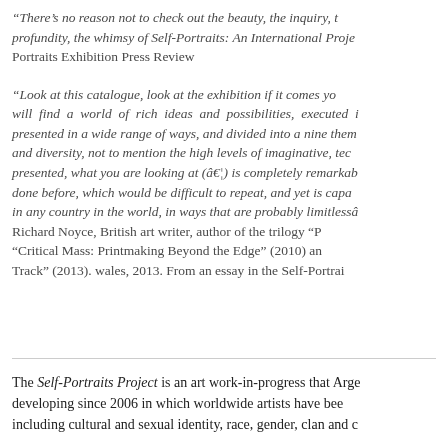"There's no reason not to check out the beauty, the inquiry, the profundity, the whimsy of Self-Portraits: An International Project... Portraits Exhibition Press Review
“Look at this catalogue, look at the exhibition if it comes your way, you will find a world of rich ideas and possibilities, executed in many media, presented in a wide range of ways, and divided into a nine thematic sections… and diversity, not to mention the high levels of imaginative, tec… presented, what you are looking at (…) is completely remarkable… done before, which would be difficult to repeat, and yet is capa… in any country in the world, in ways that are probably limitless… Richard Noyce, British art writer, author of the trilogy “P… “Critical Mass: Printmaking Beyond the Edge” (2010) an… Track” (2013). wales, 2013. From an essay in the Self-Portrai…
The Self-Portraits Project is an art work-in-progress that Arge… developing since 2006 in which worldwide artists have bee… including cultural and sexual identity, race, gender, clan and c…